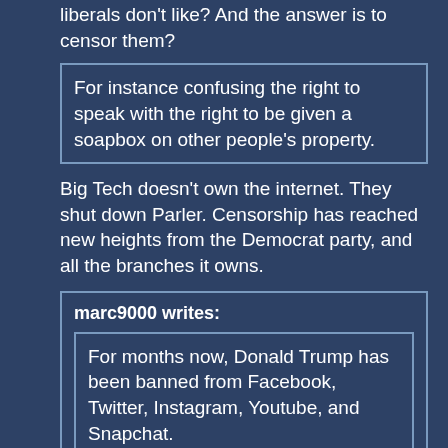liberals don't like? And the answer is to censor them?
For instance confusing the right to speak with the right to be given a soapbox on other people's property.
Big Tech doesn't own the internet. They shut down Parler. Censorship has reached new heights from the Democrat party, and all the branches it owns.
marc9000 writes:
For months now, Donald Trump has been banned from Facebook, Twitter, Instagram, Youtube, and Snapchat.
Because he was disseminating misinformation that lead to a coup attempt. They tried lesser remedies but even fact checks were attacked as restricting “free speech”. Ridiculous, but that's where Conservatism is,